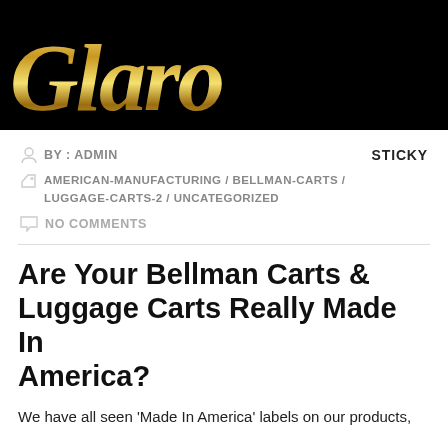[Figure (logo): Gold cursive script logo reading 'Glaro' on black background]
BY : ADMIN
STICKY
AMERICAN-MANUFACTURING / BELLMAN-CARTS / LUGGAGE-CARTS-2 / UNCATEGORIZED
NO COMMENTS
Are Your Bellman Carts & Luggage Carts Really Made In America?
We have all seen 'Made In America' labels on our products,